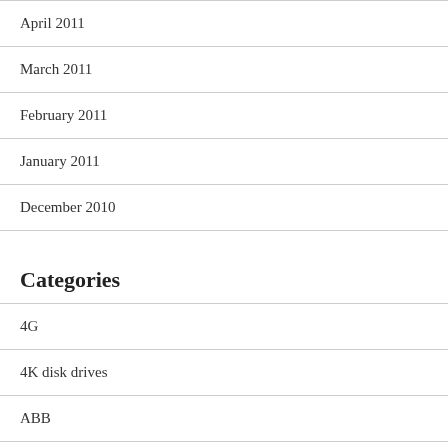April 2011
March 2011
February 2011
January 2011
December 2010
Categories
4G
4K disk drives
ABB